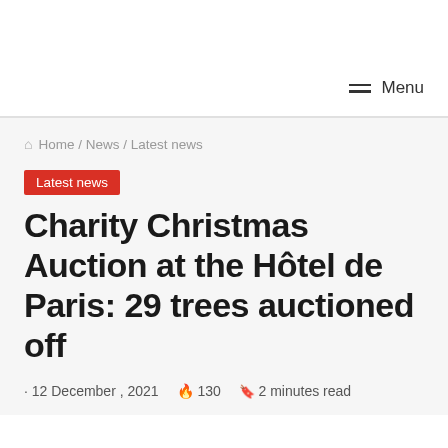Menu
Home / News / Latest news
Latest news
Charity Christmas Auction at the Hôtel de Paris: 29 trees auctioned off
12 December , 2021  130  2 minutes read